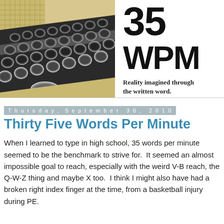[Figure (photo): Close-up photo of typewriter keys from a vintage typewriter, shot at an angle showing rows of round black keys with silver rims on a beige/cream colored typewriter body.]
35
WPM
Reality imagined through the written word.
Thursday, September 30, 2010
Thirty Five Words Per Minute
When I learned to type in high school, 35 words per minute seemed to be the benchmark to strive for.  It seemed an almost impossible goal to reach, especially with the weird V-B reach, the Q-W-Z thing and maybe X too.  I think I might also have had a broken right index finger at the time, from a basketball injury during PE.